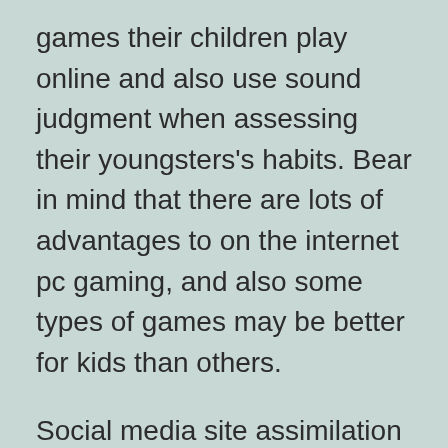games their children play online and also use sound judgment when assessing their youngsters's habits. Bear in mind that there are lots of advantages to on the internet pc gaming, and also some types of games may be better for kids than others.
Social media site assimilation
In on the internet gaming, social media sites integration can imply lots of things to mobile game designers. While the term has several definitions, it has the ability to use numerous built-in benefits to mobile video game designers. For beginners, it will give mobile